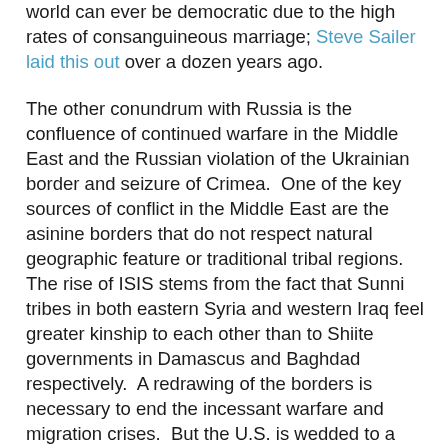world can ever be democratic due to the high rates of consanguineous marriage; Steve Sailer laid this out over a dozen years ago.

The other conundrum with Russia is the confluence of continued warfare in the Middle East and the Russian violation of the Ukrainian border and seizure of Crimea.  One of the key sources of conflict in the Middle East are the asinine borders that do not respect natural geographic feature or traditional tribal regions.  The rise of ISIS stems from the fact that Sunni tribes in both eastern Syria and western Iraq feel greater kinship to each other than to Shiite governments in Damascus and Baghdad respectively.  A redrawing of the borders is necessary to end the incessant warfare and migration crises.  But the U.S. is wedded to a policy of strictly maintaining the sanctity of borders worldwide.  We believe that a failure to do so would allow mischief to break out along Chinese, Indian, or other regions.  This is where Russia comes in.  Their seizure of the Crimea was just, in my opinion, given that it was stolen from the Russian federation in the 1950s by Khruschev.  Were we to grant the legitimacy of some border changes with Russia,